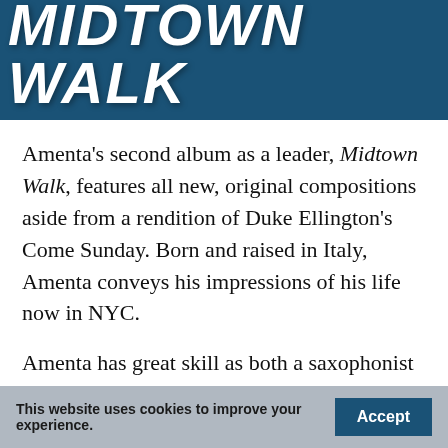[Figure (illustration): Dark blue header banner with large bold italic white text reading MIDTOWN WALK, with a faint car image in the background]
Amenta's second album as a leader, Midtown Walk, features all new, original compositions aside from a rendition of Duke Ellington's Come Sunday. Born and raised in Italy, Amenta conveys his impressions of his life now in NYC.
Amenta has great skill as both a saxophonist and a composer. The album begins with Dancing, a track for Amenta's wife – yes, a dancer. Despite having a limited dance-feel to it, the track has some complex rhythmic qualities. The ending nicely sets up the second track,
This website uses cookies to improve your experience.   Accept